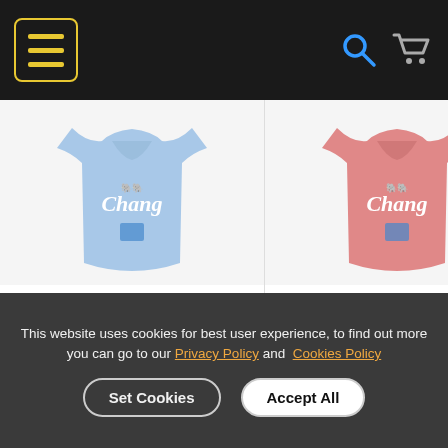[Figure (screenshot): Website header with dark background, yellow-bordered hamburger menu icon on left, blue search icon and grey shopping cart icon on right]
[Figure (photo): Blue Chang beer branded t-shirt product image]
2022 Thailand National Team T...
New
[Figure (photo): Pink/salmon Chang beer branded t-shirt product image]
2022 Thailand National Team T...
New
This website uses cookies for best user experience, to find out more you can go to our Privacy Policy and Cookies Policy
Set Cookies
Accept All